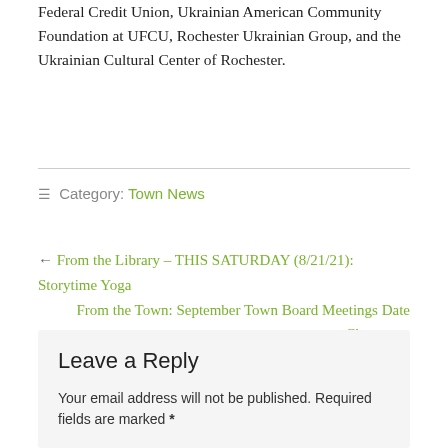Federal Credit Union, Ukrainian American Community Foundation at UFCU, Rochester Ukrainian Group, and the Ukrainian Cultural Center of Rochester.
≡ Category: Town News
← From the Library – THIS SATURDAY (8/21/21): Storytime Yoga
From the Town: September Town Board Meetings Date Change →
Leave a Reply
Your email address will not be published. Required fields are marked *
Comment *